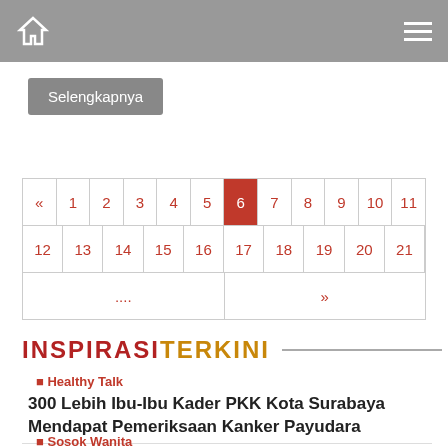Home navigation bar with menu icon
Selengkapnya
| « | 1 | 2 | 3 | 4 | 5 | 6 | 7 | 8 | 9 | 10 | 11 |
| --- | --- | --- | --- | --- | --- | --- | --- | --- | --- | --- | --- |
| 12 | 13 | 14 | 15 | 16 | 17 | 18 | 19 | 20 | 21 |
| .... | » |
INSPIRASI TERKINI
🏠 Healthy Talk
300 Lebih Ibu-Ibu Kader PKK Kota Surabaya Mendapat Pemeriksaan Kanker Payudara
🏠 Sosok Wanita